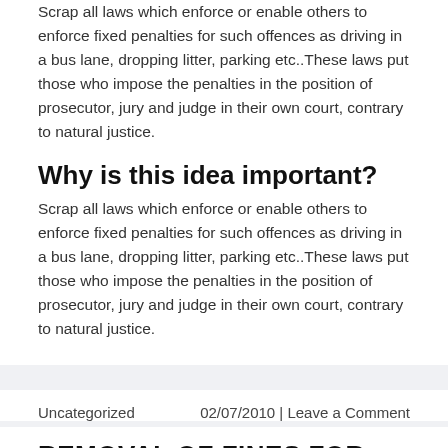Scrap all laws which enforce or enable others to enforce fixed penalties for such offences as driving in a bus lane, dropping litter, parking etc..These laws put those who impose the penalties in the position of prosecutor, jury and judge in their own court, contrary to natural justice.
Why is this idea important?
Scrap all laws which enforce or enable others to enforce fixed penalties for such offences as driving in a bus lane, dropping litter, parking etc..These laws put those who impose the penalties in the position of prosecutor, jury and judge in their own court, contrary to natural justice.
Uncategorized    02/07/2010 | Leave a Comment
REMOVAL OF FINES FOR